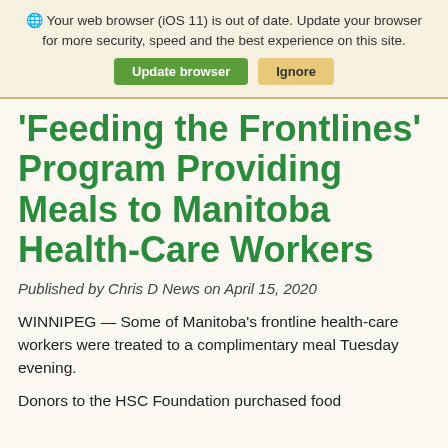Your web browser (iOS 11) is out of date. Update your browser for more security, speed and the best experience on this site. Update browser | Ignore
'Feeding the Frontlines' Program Providing Meals to Manitoba Health-Care Workers
Published by Chris D News on April 15, 2020
WINNIPEG — Some of Manitoba's frontline health-care workers were treated to a complimentary meal Tuesday evening.
Donors to the HSC Foundation purchased food